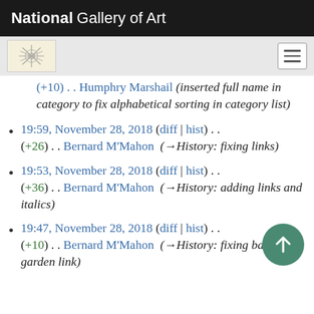National Gallery of Art
(+10) . . Humphry Marshail (inserted full name in category to fix alphabetical sorting in category list)
19:59, November 28, 2018 (diff | hist) . . (+26) . . Bernard M'Mahon (→History: fixing links)
19:53, November 28, 2018 (diff | hist) . . (+36) . . Bernard M'Mahon (→History: adding links and italics)
19:47, November 28, 2018 (diff | hist) . . (+10) . . Bernard M'Mahon (→History: fixing bartram's garden link)